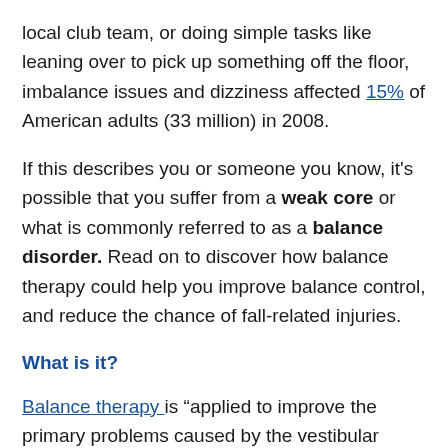local club team, or doing simple tasks like leaning over to pick up something off the floor, imbalance issues and dizziness affected 15% of American adults (33 million) in 2008.
If this describes you or someone you know, it's possible that you suffer from a weak core or what is commonly referred to as a balance disorder. Read on to discover how balance therapy could help you improve balance control, and reduce the chance of fall-related injuries.
What is it?
Balance therapy is "applied to improve the primary problems caused by the vestibular disorders, such as dizziness, vertigo, gaze instability, falls, and imbalance." It can also be